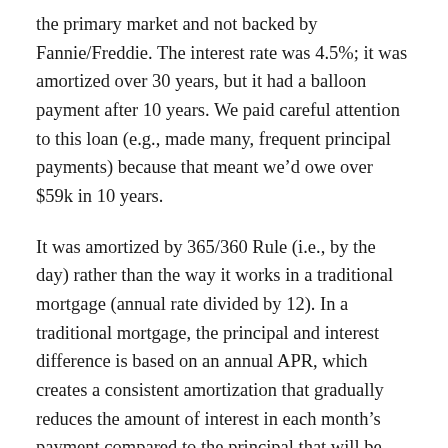the primary market and not backed by Fannie/Freddie. The interest rate was 4.5%; it was amortized over 30 years, but it had a balloon payment after 10 years. We paid careful attention to this loan (e.g., made many, frequent principal payments) because that meant we'd owe over $59k in 10 years.
It was amortized by 365/360 Rule (i.e., by the day) rather than the way it works in a traditional mortgage (annual rate divided by 12). In a traditional mortgage, the principal and interest difference is based on an annual APR, which creates a consistent amortization that gradually reduces the amount of interest in each month's payment compared to the principal that will be paid. In the 365/360 Rule, each month's principal and interest applied to the loan is different because it's based on the number of days in the individual month. For example, in March, we paid February's 28 days of interest...